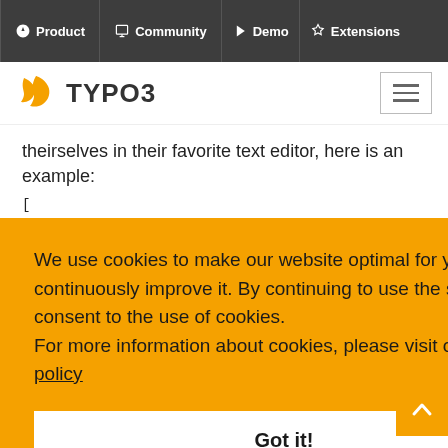Product  Community  Demo  Extensions
[Figure (logo): TYPO3 logo with orange bird icon and TYPO3 text, plus hamburger menu icon]
theirselves in their favorite text editor, here is an example:
We use cookies to make our website optimal for you and to continuously improve it. By continuing to use the site, you consent to the use of cookies.
For more information about cookies, please visit our privacy policy
Got it!
"conflict": [],